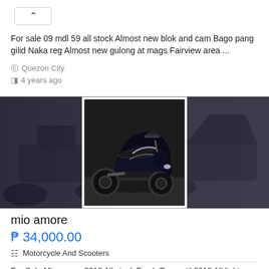For sale 09 mdl 59 all stock Almost new blok and cam Bago pang gilid Naka reg Almost new gulong at mags Fairview area ...
Quezon City
4 years ago
[Figure (photo): Photo of a black scooter/motorcycle (mio amore) shown as a center framed image with white border overlaid on a blurred background photo of a similar dark scooter]
mio amore
₱ 34,000.00
Motorcycle And Scooters
For Sale Mio amore 2010 All stock Fresh Reg until 2018 All lights working